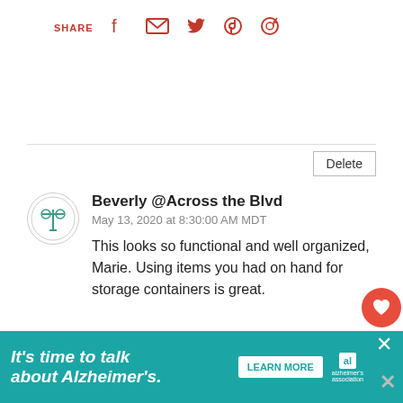[Figure (screenshot): Social share bar with SHARE label and icons for Facebook, Email, Twitter, Pinterest, WhatsApp in red/pink]
[Figure (screenshot): Delete button (outlined) in upper right area]
Beverly @Across the Blvd
May 13, 2020 at 8:30:00 AM MDT
This looks so functional and well organized, Marie. Using items you had on hand for storage containers is great.
[Figure (screenshot): Like heart button (red circle) with count 3 and share button below]
[Figure (screenshot): Reply button and What's Next promo showing How To Build A Mirrored...]
Marie-Interior Frugalista
[Figure (screenshot): Ad banner: It's time to talk about Alzheimer's. with Learn More button and Alzheimer's Association logo]